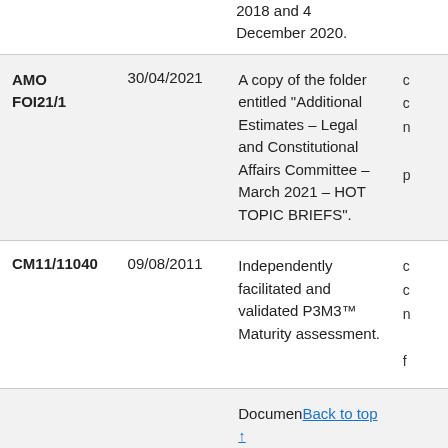| Reference | Date | Description | Details |
| --- | --- | --- | --- |
|  |  | 2018 and 4 December 2020. |  |
| AMO FOI21/1 | 30/04/2021 | A copy of the folder entitled "Additional Estimates – Legal and Constitutional Affairs Committee – March 2021 – HOT TOPIC BRIEFS". | c d n p |
| CM11/11040 | 09/08/2011 | Independently facilitated and validated P3M3™ Maturity assessment. | c d n f |
|  |  | Documents containing | Back to top ↑ |